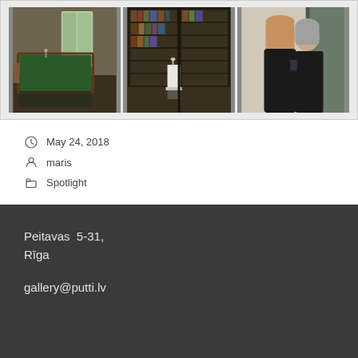[Figure (photo): Three photos side by side: left shows an ornate room with a billiard/pool table and tall windows; center shows a library with dark bookshelves and a white pedestal; right shows two women posing together, both in dark clothing, in an interior doorway.]
May 24, 2018
maris
Spotlight
Peitavas  5-31,
Rīga
gallery@putti.lv